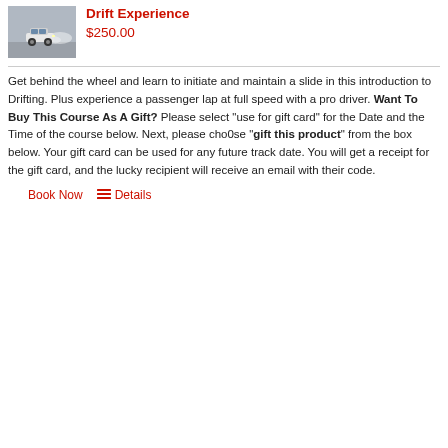[Figure (photo): Photo of a car drifting on a track, smoke visible, taken from a distance with a gray/outdoor background.]
Drift Experience
$250.00
Get behind the wheel and learn to initiate and maintain a slide in this introduction to Drifting. Plus experience a passenger lap at full speed with a pro driver. Want To Buy This Course As A Gift? Please select "use for gift card" for the Date and the Time of the course below. Next, please cho0se "gift this product" from the box below. Your gift card can be used for any future track date. You will get a receipt for the gift card, and the lucky recipient will receive an email with their code.
Book Now   Details